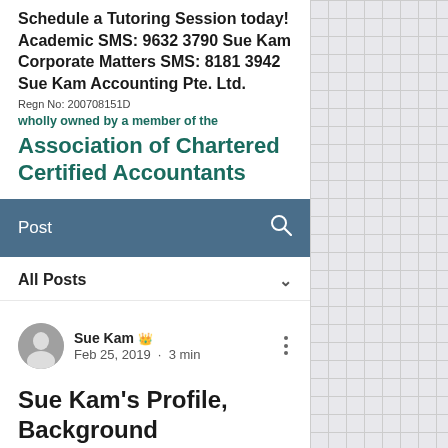Schedule a Tutoring Session today! Academic SMS: 9632 3790 Sue Kam Corporate Matters SMS: 8181 3942 Sue Kam Accounting Pte. Ltd. Regn No: 200708151D wholly owned by a member of the Association of Chartered Certified Accountants
Post
All Posts
Sue Kam 👑  Feb 25, 2019 · 3 min
Sue Kam's Profile, Background